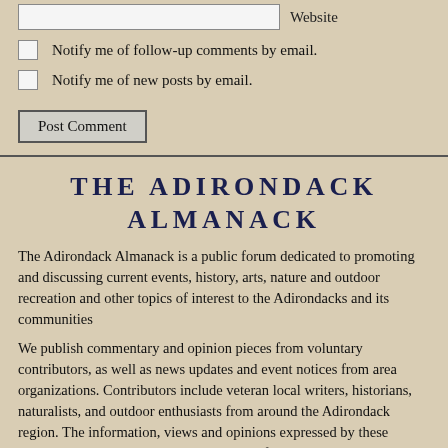Website
Notify me of follow-up comments by email.
Notify me of new posts by email.
Post Comment
THE ADIRONDACK ALMANACK
The Adirondack Almanack is a public forum dedicated to promoting and discussing current events, history, arts, nature and outdoor recreation and other topics of interest to the Adirondacks and its communities
We publish commentary and opinion pieces from voluntary contributors, as well as news updates and event notices from area organizations. Contributors include veteran local writers, historians, naturalists, and outdoor enthusiasts from around the Adirondack region. The information, views and opinions expressed by these various authors are not necessarily those of the Adirondack Almanack or its publisher, the Adirondack Explorer.